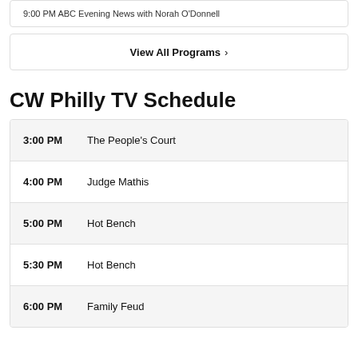9:00 PM ABC Evening News with Norah O'Donnell
View All Programs ›
CW Philly TV Schedule
3:00 PM  The People's Court
4:00 PM  Judge Mathis
5:00 PM  Hot Bench
5:30 PM  Hot Bench
6:00 PM  Family Feud